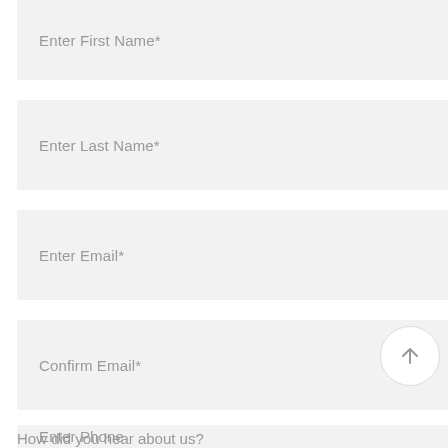Enter First Name*
Enter Last Name*
Enter Email*
Confirm Email*
Enter Phone
How did you hear about us?